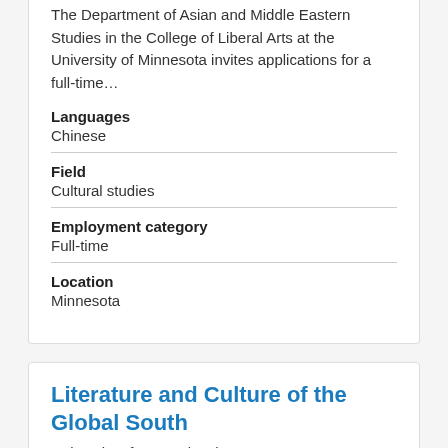The Department of Asian and Middle Eastern Studies in the College of Liberal Arts at the University of Minnesota invites applications for a full-time...
Languages
Chinese
Field
Cultural studies
Employment category
Full-time
Location
Minnesota
Literature and Culture of the Global South
University of Pennsylvania
Literature and Culture of the Global South Location: